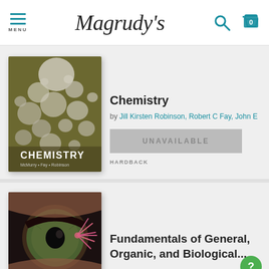Magrudy's
[Figure (photo): Cover of Chemistry textbook showing water droplets/bubbles on a surface, by McMurry, Fay, Robinson]
Chemistry
by Jill Kirsten Robinson, Robert C Fay, John E
UNAVAILABLE
HARDBACK
[Figure (photo): Cover of Fundamentals of General, Organic, and Biological Chemistry textbook showing a close-up of a human eye with a sea anemone reflection]
Fundamentals of General, Organic, and Biological...